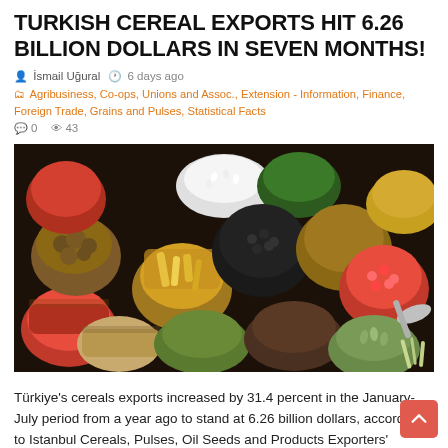TURKISH CEREAL EXPORTS HIT 6.26 BILLION DOLLARS IN SEVEN MONTHS!
İsmail Uğural   6 days ago
Agribusiness, Co-ops, Unions and Assoc., Extension - Information, Finance, Foreign Trade, Grains and Pulses, Statistical Facts
0   43
[Figure (photo): Overhead view of many burlap sacks and bowls filled with colorful spices, grains, seeds, and pulses arranged together on a dark surface.]
Türkiye's cereals exports increased by 31.4 percent in the January-July period from a year ago to stand at 6.26 billion dollars, according to Istanbul Cereals, Pulses, Oil Seeds and Products Exporters' Association (İHBİR). In July alone, exports grew by 22.4 percent on an annual basis to 181.5 million dollars. The …